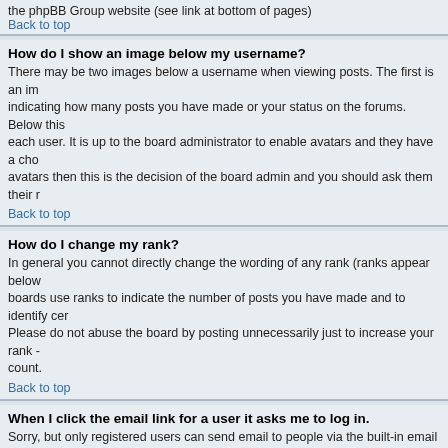the phpBB Group website (see link at bottom of pages)
Back to top
How do I show an image below my username?
There may be two images below a username when viewing posts. The first is an image indicating how many posts you have made or your status on the forums. Below this each user. It is up to the board administrator to enable avatars and they have a choice avatars then this is the decision of the board admin and you should ask them their r
Back to top
How do I change my rank?
In general you cannot directly change the wording of any rank (ranks appear below boards use ranks to indicate the number of posts you have made and to identify cer Please do not abuse the board by posting unnecessarily just to increase your rank - count.
Back to top
When I click the email link for a user it asks me to log in.
Sorry, but only registered users can send email to people via the built-in email form system by anonymous users.
Back to top
Posting
How do I post a topic in a forum?